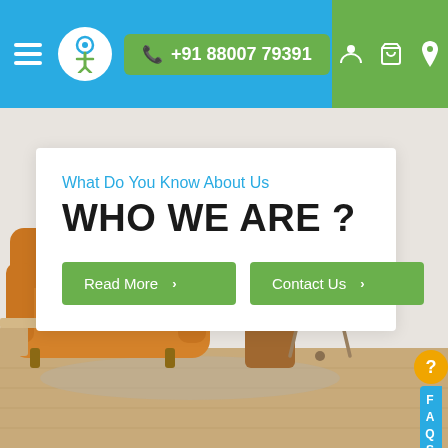Navigation bar with hamburger menu, logo, phone number +91 88007 79391, user icon, cart icon, location icon
What Do You Know About Us
WHO WE ARE ?
Read More >
Contact Us >
[Figure (photo): Interior room photo showing a camel/amber leather sofa with grey cushion, wooden side table with cactus plant and white vase, a tripod floor lamp in front of a white wall, light wood floor.]
FAQS